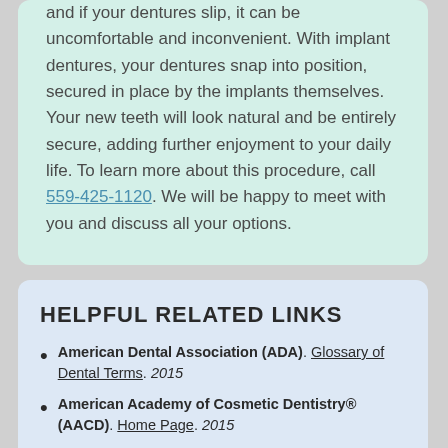and if your dentures slip, it can be uncomfortable and inconvenient. With implant dentures, your dentures snap into position, secured in place by the implants themselves. Your new teeth will look natural and be entirely secure, adding further enjoyment to your daily life. To learn more about this procedure, call 559-425-1120. We will be happy to meet with you and discuss all your options.
HELPFUL RELATED LINKS
American Dental Association (ADA). Glossary of Dental Terms. 2015
American Academy of Cosmetic Dentistry® (AACD). Home Page. 2015
WebMD. WebMD's Oral Care Guide. 2015